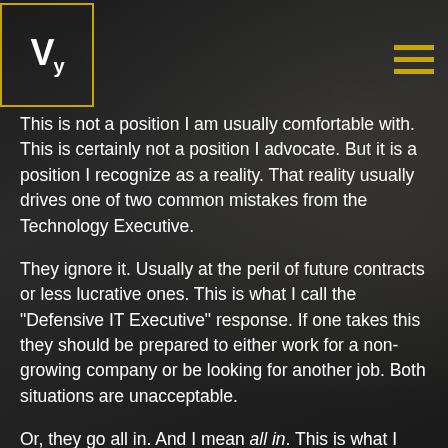[Figure (logo): Vy logo in white text on dark background with gold/yellow border square]
This is not a position I am usually comfortable with. This is certainly not a position I advocate. But it is a position I recognize as a reality. That reality usually drives one of two common mistakes from the Technology Executive.
They ignore it. Usually at the peril of future contracts or less lucrative ones. This is what I call the "Defensive IT Executive" response. If one takes this they should be prepared to either work for a non-growing company or be looking for another job. Both situations are unacceptable.
Or, they go all in. And I mean all in. This is what I call the "Industry Reputation Executive" response. This individual is usually more worried about their industry reputation than the health and effectiveness of the organization. This is the person who thinks HITRUST Certification should be the largest priority of the entire organization and everything is viewed through that lens. This is